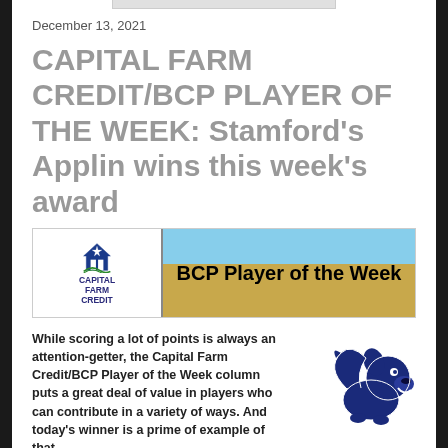December 13, 2021
CAPITAL FARM CREDIT/BCP PLAYER OF THE WEEK: Stamford's Applin wins this week's award
[Figure (logo): Capital Farm Credit / BCP Player of the Week banner with Capital Farm Credit logo on the left and 'BCP Player of the Week' text on the right over a sky and wheat field background]
While scoring a lot of points is always an attention-getter, the Capital Farm Credit/BCP Player of the Week column puts a great deal of value in players who can contribute in a variety of ways. And today's winner is a prime of example of that.
[Figure (logo): Dark blue school mascot logo (bulldog or similar animal with wing)]